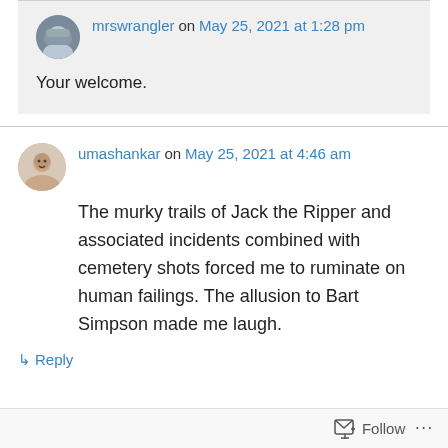mrswrangler on May 25, 2021 at 1:28 pm
Your welcome.
umashankar on May 25, 2021 at 4:46 am
The murky trails of Jack the Ripper and associated incidents combined with cemetery shots forced me to ruminate on human failings. The allusion to Bart Simpson made me laugh.
↳ Reply